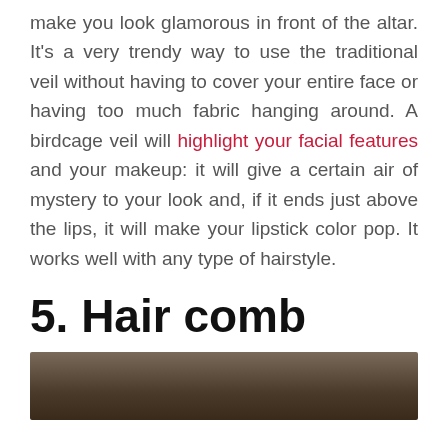make you look glamorous in front of the altar. It's a very trendy way to use the traditional veil without having to cover your entire face or having too much fabric hanging around. A birdcage veil will highlight your facial features and your makeup: it will give a certain air of mystery to your look and, if it ends just above the lips, it will make your lipstick color pop. It works well with any type of hairstyle.
5. Hair comb
[Figure (photo): Photo of a person with hair styled, partially visible at the bottom of the page]